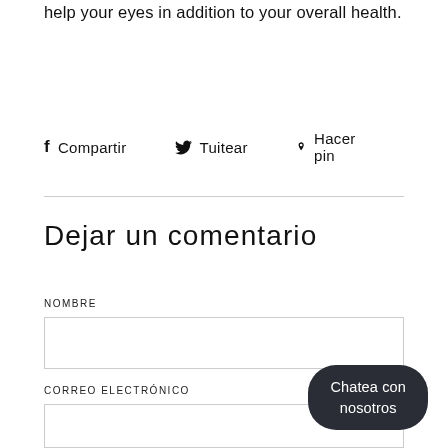help your eyes in addition to your overall health.
Compartir   Tuitear   Hacer pin
Dejar un comentario
NOMBRE
CORREO ELECTRÓNICO
Chatea con nosotros